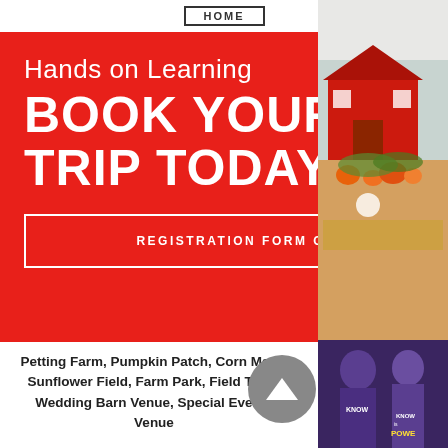HOME
Hands on Learning
BOOK YOUR FIELD TRIP TODAY
REGISTRATION FORM CLICK HERE
[Figure (photo): Farm/barn scene photo on right side]
Petting Farm, Pumpkin Patch, Corn Maze, Sunflower Field, Farm Park, Field Trips, Wedding Barn Venue, Special Events Venue
Busy Barns Adventure Fa...
W7675 US Hwy 12
Fort Atkinson, WI 53538
Contact Us
[Figure (photo): People wearing purple shirts, bottom right photo]